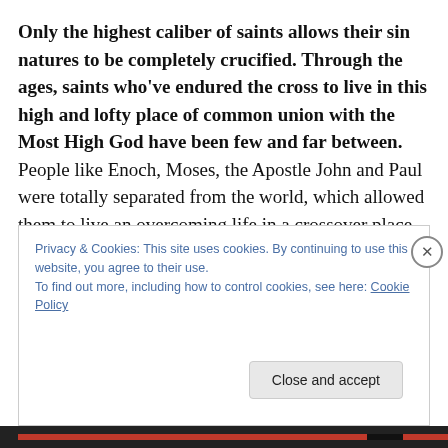Only the highest caliber of saints allows their sin natures to be completely crucified. Through the ages, saints who've endured the cross to live in this high and lofty place of common union with the Most High God have been few and far between. People like Enoch, Moses, the Apostle John and Paul were totally separated from the world, which allowed them to live an overcoming life in a crossover place with God, so sacred and beautiful that it begs description. Even though resurrection life (complete crucifixion of worldly and fleshly passions) is not
Privacy & Cookies: This site uses cookies. By continuing to use this website, you agree to their use.
To find out more, including how to control cookies, see here: Cookie Policy
Close and accept